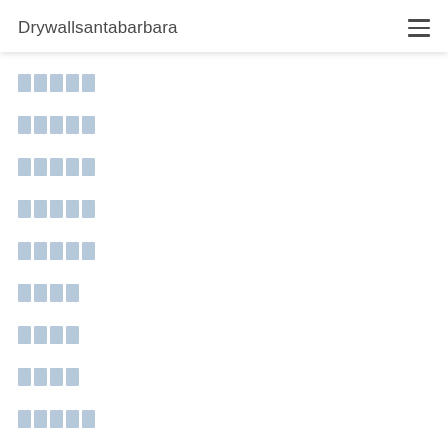Drywallsantabarbara
█████
█████
█████
█████
█████
████
████
████
█████
█████